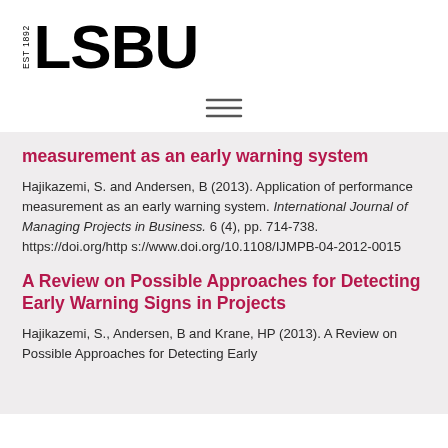[Figure (logo): LSBU logo with EST 1892 text and bold LSBU wordmark]
[Figure (other): Hamburger menu icon with three horizontal lines]
measurement as an early warning system
Hajikazemi, S. and Andersen, B (2013). Application of performance measurement as an early warning system. International Journal of Managing Projects in Business. 6 (4), pp. 714-738. https://doi.org/https://www.doi.org/10.1108/IJMPB-04-2012-0015
A Review on Possible Approaches for Detecting Early Warning Signs in Projects
Hajikazemi, S., Andersen, B and Krane, HP (2013). A Review on Possible Approaches for Detecting Early